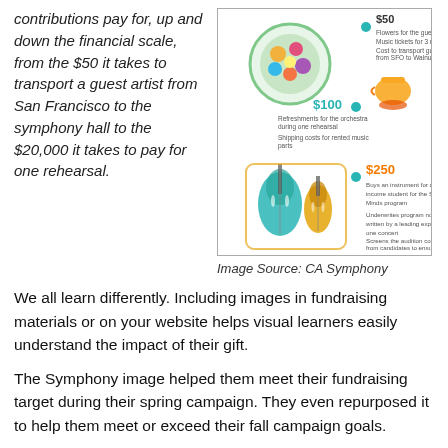contributions pay for, up and down the financial scale, from the $50 it takes to transport a guest artist from San Francisco to the symphony hall to the $20,000 it takes to pay for one rehearsal.
[Figure (infographic): CA Symphony fundraising infographic showing dollar amounts ($50, $100, $250) with illustrations of musical instruments, refreshments, and other items representing what contributions pay for.]
Image Source: CA Symphony
We all learn differently. Including images in fundraising materials or on your website helps visual learners easily understand the impact of their gift.
The Symphony image helped them meet their fundraising target during their spring campaign. They even repurposed it to help them meet or exceed their fall campaign goals.
I encourage, no, I URGE you to find a fun way to share YOUR money story. When your staff and board